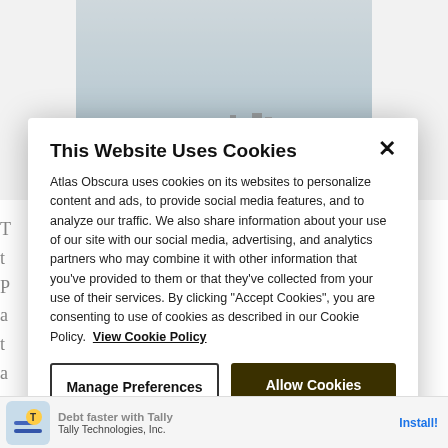[Figure (photo): Aerial or distant photograph of an oil platform/pier structure on a gray misty sea or bay]
T
t
P
a
t
a
a
commit
had qui
This Website Uses Cookies

Atlas Obscura uses cookies on its websites to personalize content and ads, to provide social media features, and to analyze our traffic. We also share information about your use of our site with our social media, advertising, and analytics partners who may combine it with other information that you've provided to them or that they've collected from your use of their services. By clicking "Accept Cookies", you are consenting to use of cookies as described in our Cookie Policy. View Cookie Policy

[Manage Preferences] [Allow Cookies]
[Figure (screenshot): Tally Technologies, Inc. app advertisement banner at bottom of screen with 'Debt faster with Tally' text and Install button]